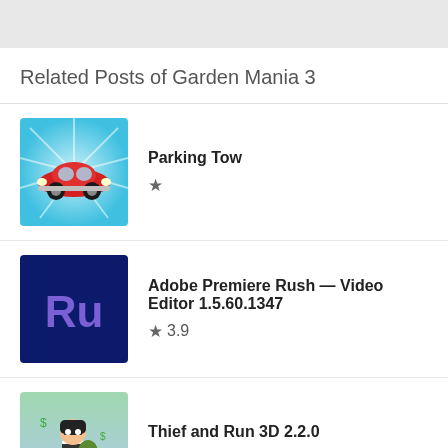Related Posts of Garden Mania 3
[Figure (screenshot): App icon for Parking Tow: red cartoon VW Beetle car on a blue radiant background]
Parking Tow ★
[Figure (screenshot): Adobe Premiere Rush logo: dark navy blue square with purple 'Ru' text]
Adobe Premiere Rush — Video Editor 1.5.60.1347 ★ 3.9
[Figure (screenshot): Thief and Run 3D app icon: cartoon thief character running with a bag on a light blue/green background]
Thief and Run 3D 2.2.0 ★ 4.1
[Figure (screenshot): Grand Cash Slots Casino Games icon with 'GRAND CASH' text in purple on green/gold background]
Grand Cash Slots: Casino Games 1.0.9 ★ 4.6